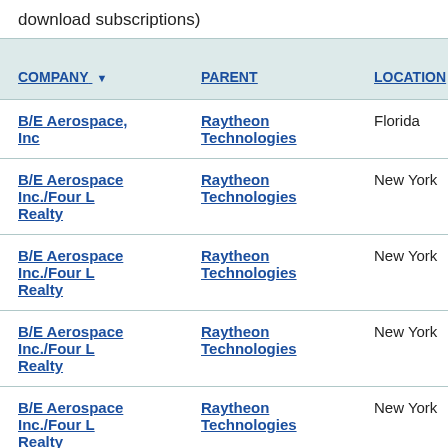download subscriptions)
| COMPANY | PARENT | LOCATION | SU SC |
| --- | --- | --- | --- |
| B/E Aerospace, Inc | Raytheon Technologies | Florida | stat |
| B/E Aerospace Inc./Four L Realty | Raytheon Technologies | New York | loca |
| B/E Aerospace Inc./Four L Realty | Raytheon Technologies | New York | loca |
| B/E Aerospace Inc./Four L Realty | Raytheon Technologies | New York | loca |
| B/E Aerospace Inc./Four L Realty | Raytheon Technologies | New York | loca |